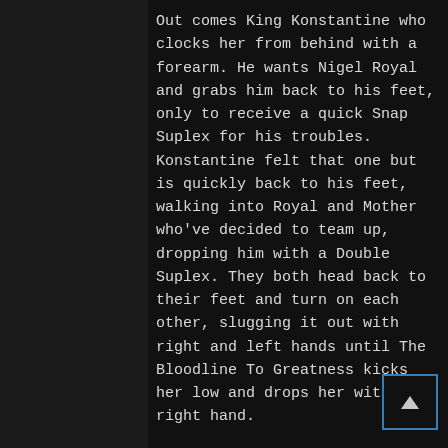Out comes King Konstantine who clocks her from behind with a forearm. He wants Nigel Royal and grabs him back to his feet, only to receive a quick Snap Suplex for his troubles. Konstantine felt that one but is quickly back to his feet, walking into Royal and Mother who've decided to team up, dropping him with a Double Suplex. They both head back to their feet and turn on each other, slugging it out with right and left hands until The Bloodline To Greatness kicks her low and drops her with a right hand.
Just then the buzzer goes and here comes the last man. Desmond Cross is quick to hit Royal with a Clothesline, then Mother as she gets back up. He goes after Konstantine but the King begs off.. NAILING HIM WITH A LOW BLOW! Nigel...